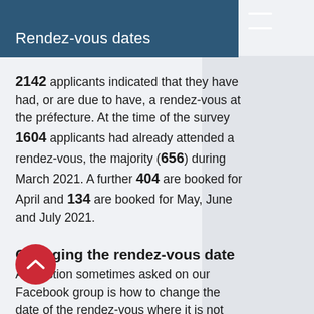Rendez-vous dates
2142 applicants indicated that they have had, or are due to have, a rendez-vous at the préfecture. At the time of the survey 1604 applicants had already attended a rendez-vous, the majority (656) during March 2021. A further 404 are booked for April and 134 are booked for May, June and July 2021.
Changing the rendez-vous date
A question sometimes asked on our Facebook group is how to change the date of the rendez-vous where it is not possible for the applicant to attend.